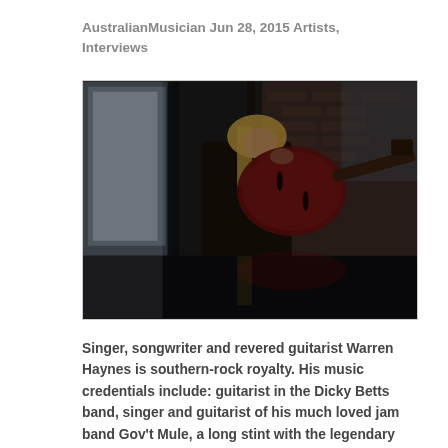AustralianMusician Jun 28, 2015 Artists, Interviews
[Figure (photo): A guitarist with long blonde hair holding a dark red semi-hollow electric guitar, standing near large windows in a dimly lit brick-walled room. The image has a dark, moody atmosphere with a reflection visible on a glossy surface below.]
Singer, songwriter and revered guitarist Warren Haynes is southern-rock royalty. His music credentials include: guitarist in the Dicky Betts band, singer and guitarist of his much loved jam band Gov't Mule, a long stint with the legendary Allman Brothers trading licks with fellow-guitar great Derek